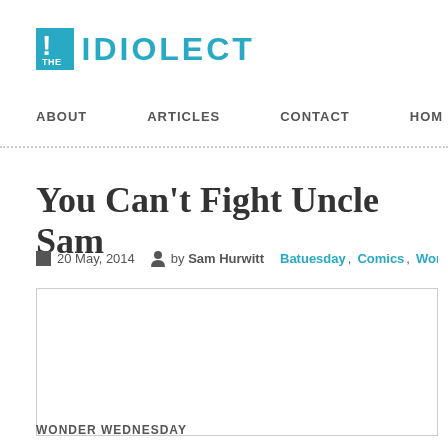THE IDIOLECT
ABOUT   ARTICLES   CONTACT   HOME
You Can't Fight Uncle Sam
20 May, 2014  by Sam Hurwitt  Batuesday, Comics, Wonder Wednesday
[Figure (photo): Article image placeholder, white box with gray border]
WONDER WEDNESDAY